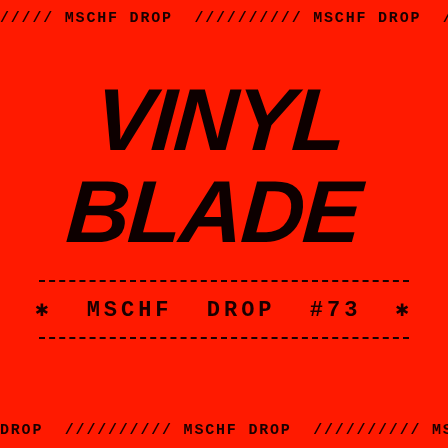///// MSCHF DROP ////////// MSCHF DROP /////////
[Figure (logo): VINYL BLADE logo in bold black italicized futuristic font on red background]
* MSCHF DROP #73 *
DROP ////////// MSCHF DROP ////////// MSCHF DROP